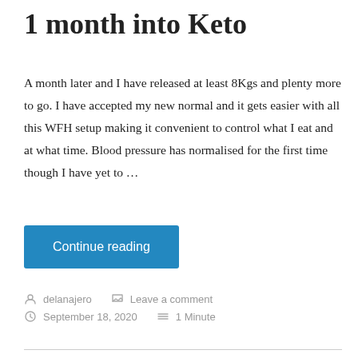1 month into Keto
A month later and I have released at least 8Kgs and plenty more to go. I have accepted my new normal and it gets easier with all this WFH setup making it convenient to control what I eat and at what time. Blood pressure has normalised for the first time though I have yet to …
Continue reading
delanajero   Leave a comment
September 18, 2020   1 Minute